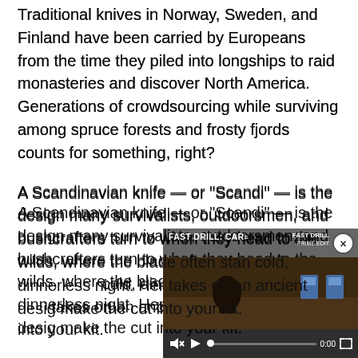Traditional knives in Norway, Sweden, and Finland have been carried by Europeans from the time they piled into longships to raid monasteries and discover North America. Generations of crowdsourcing while surviving among spruce forests and frosty fjords counts for something, right?
A Scandinavian knife — or “Scandi” — is the design many survivalists, outdoorsmen, and bushcrafters turn to when they head to the wilds, where the blade often stan[ds between them and a] cold, dinnerless night. Her[e's how a modern maker] takes on an ancient desig[n to see which knives] make the cut into your kit.
[Figure (screenshot): Embedded video overlay in bottom-right corner showing 'FAST DRILL: CAR' video with play button, mute icon, progress bar at 0:00, and a close (x) button. Video frame shows a dark outdoor shooting range scene with blue target silhouettes.]